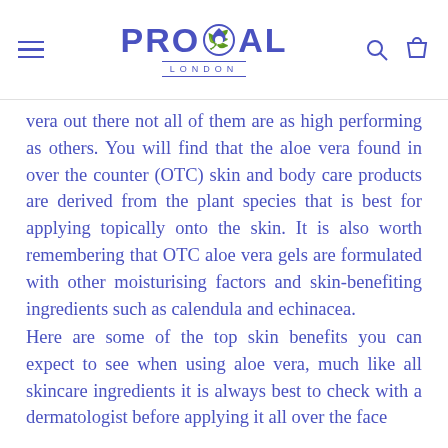PROCOAL LONDON
vera out there not all of them are as high performing as others. You will find that the aloe vera found in over the counter (OTC) skin and body care products are derived from the plant species that is best for applying topically onto the skin. It is also worth remembering that OTC aloe vera gels are formulated with other moisturising factors and skin-benefiting ingredients such as calendula and echinacea.
Here are some of the top skin benefits you can expect to see when using aloe vera, much like all skincare ingredients it is always best to check with a dermatologist before applying it all over the face